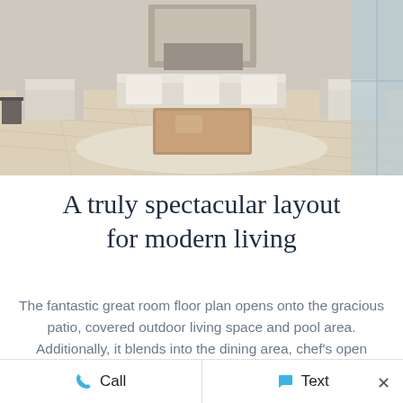[Figure (photo): Interior photo of a modern living room with light hardwood floors, a beige area rug, white sofas, a wooden coffee table, a fireplace, and large windows letting in natural light.]
A truly spectacular layout for modern living
The fantastic great room floor plan opens onto the gracious patio, covered outdoor living space and pool area. Additionally, it blends into the dining area, chef's open kitchen and breakfast nook. Featuring a gorgeous floor to ceiling marble slab
Call   Text